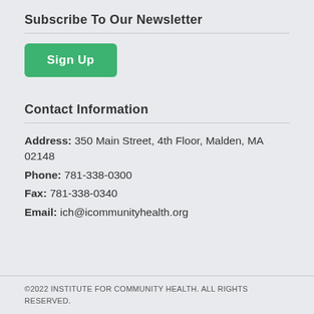Subscribe To Our Newsletter
[Figure (other): Green 'Sign Up' button]
Contact Information
Address: 350 Main Street, 4th Floor, Malden, MA 02148
Phone: 781-338-0300
Fax: 781-338-0340
Email: ich@icommunityhealth.org
©2022 INSTITUTE FOR COMMUNITY HEALTH. ALL RIGHTS RESERVED.